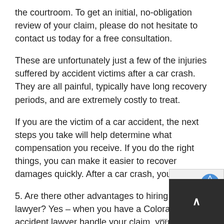the courtroom. To get an initial, no-obligation review of your claim, please do not hesitate to contact us today for a free consultation.
These are unfortunately just a few of the injuries suffered by accident victims after a car crash. They are all painful, typically have long recovery periods, and are extremely costly to treat.
If you are the victim of a car accident, the next steps you take will help determine what compensation you receive. If you do the right things, you can make it easier to recover damages quickly. After a car crash, you should:
5. Are there other advantages to hiring a lawyer? Yes – when you have a Colorado car accident lawyer handle your claim, you will not have to go through the stress of dealing with the insurance company representatives and lawyers directly, as we will always speak on your behalf. Working with one of our experienced lawyers enables you to focus on recovering your health and getting your life back on